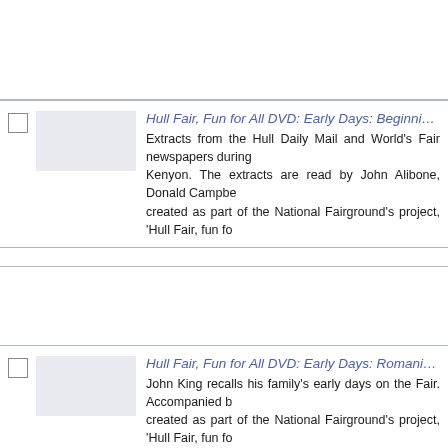Hull Fair, Fun for All DVD: Early Days: Beginnings: Early H...
Extracts from the Hull Daily Mail and World's Fair newspapers during... Kenyon. The extracts are read by John Alibone, Donald Campbe... created as part of the National Fairground's project, 'Hull Fair, fun fo...
Hull Fair, Fun for All DVD: Early Days: Romanies: A Roma...
John King recalls his family's early days on the Fair. Accompanied b... created as part of the National Fairground's project, 'Hull Fair, fun fo... Council (see http://www.hullfair.dept.shef.ac.uk). The resource is th...
Hull Fair, Fun for All DVD: Early Days: Romanies: Romany...
John King recalls the origins of the King family. Accompanied by...